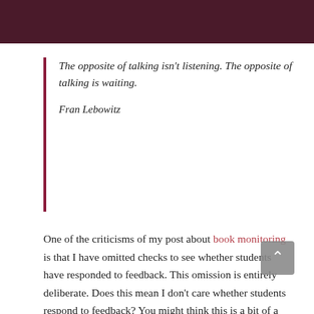[Figure (photo): Dark reddish-brown wood grain texture banner at the top of the page]
The opposite of talking isn't listening. The opposite of talking is waiting.

Fran Lebowitz
One of the criticisms of my post about book monitoring is that I have omitted checks to see whether students have responded to feedback. This omission is entirely deliberate. Does this mean I don't care whether students respond to feedback? You might think this is a bit of a